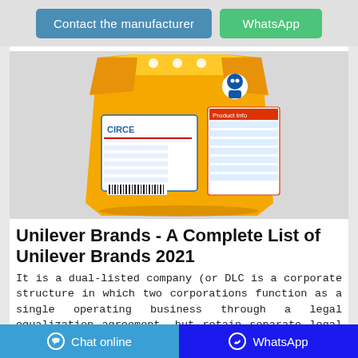[Figure (other): Button row at top: 'Contact the manufacturer' (blue) and 'WhatsApp' (green)]
[Figure (photo): Product photo of an orange/yellow laundry detergent bag with Arabic text and branding, standing upright on a white/grey background]
Unilever Brands - A Complete List of Unilever Brands 2021
It is a dual-listed company (or DLC is a corporate structure in which two corporations function as a single operating business through a legal equalization agreement, but retain separate legal identities and stock exchange listings) consisting of Unilever plc, based in London and Unilever
[Figure (other): Bottom navigation bar with 'Chat online' (blue, with chat icon) on the left and 'WhatsApp' (dark blue, with WhatsApp icon) on the right]